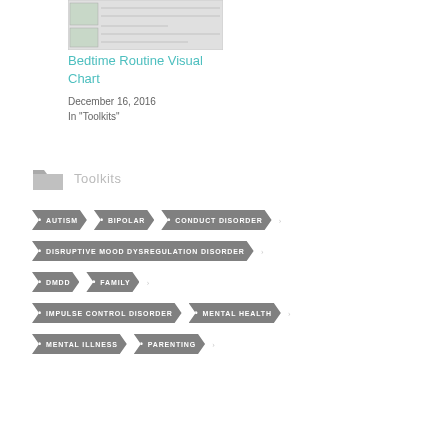[Figure (thumbnail): Small thumbnail image of Bedtime Routine Visual Chart document]
Bedtime Routine Visual Chart
December 16, 2016
In "Toolkits"
Toolkits
AUTISM
BIPOLAR
CONDUCT DISORDER
DISRUPTIVE MOOD DYSREGULATION DISORDER
DMDD
FAMILY
IMPULSE CONTROL DISORDER
MENTAL HEALTH
MENTAL ILLNESS
PARENTING